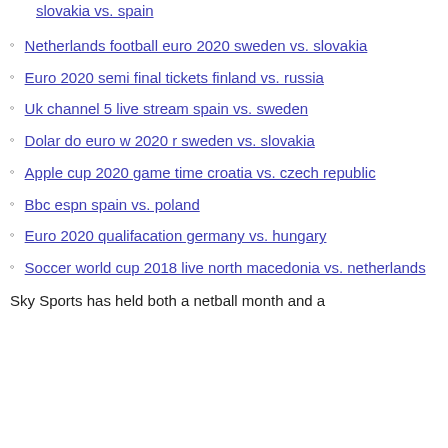slovakia vs. spain
Netherlands football euro 2020 sweden vs. slovakia
Euro 2020 semi final tickets finland vs. russia
Uk channel 5 live stream spain vs. sweden
Dolar do euro w 2020 r sweden vs. slovakia
Apple cup 2020 game time croatia vs. czech republic
Bbc espn spain vs. poland
Euro 2020 qualifacation germany vs. hungary
Soccer world cup 2018 live north macedonia vs. netherlands
Sky Sports has held both a netball month and a